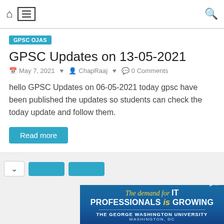[Figure (screenshot): Website navigation bar with home icon, hamburger menu (boxed), and search icon]
GPSC OJAS
GPSC Updates on 13-05-2021
May 7, 2021  ChapRaaj  0 Comments
hello GPSC Updates on 06-05-2021 today gpsc have been published the updates so students can check the today update and follow them.
Read more
[Figure (screenshot): Partial bottom pagination area with chevron and two blue buttons]
[Figure (screenshot): Advertisement banner for The George Washington University: 'The demand for IT PROFESSIONALS is GROWING', Washington DC]